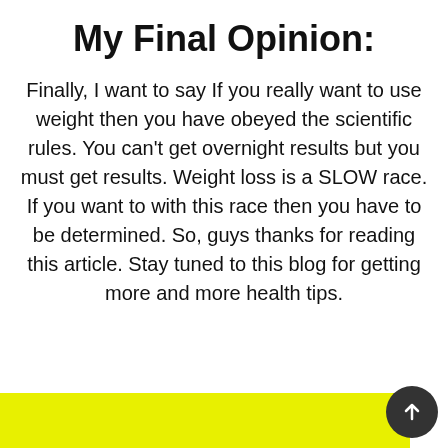My Final Opinion:
Finally, I want to say If you really want to use weight then you have obeyed the scientific rules. You can’t get overnight results but you must get results. Weight loss is a SLOW race. If you want to with this race then you have to be determined. So, guys thanks for reading this article. Stay tuned to this blog for getting more and more health tips.